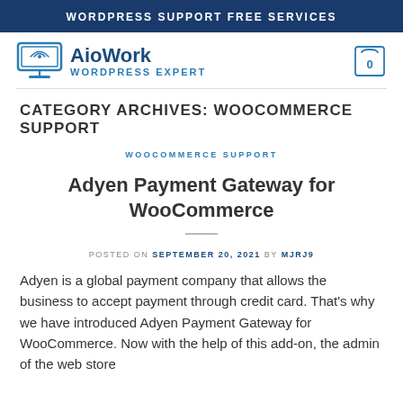WORDPRESS SUPPORT FREE SERVICES
[Figure (logo): AioWork WordPress Expert logo with laptop/monitor icon and shopping cart icon showing 0]
CATEGORY ARCHIVES: WOOCOMMERCE SUPPORT
WOOCOMMERCE SUPPORT
Adyen Payment Gateway for WooCommerce
POSTED ON SEPTEMBER 20, 2021 BY MJRJ9
Adyen is a global payment company that allows the business to accept payment through credit card. That’s why we have introduced Adyen Payment Gateway for WooCommerce. Now with the help of this add-on, the admin of the web store